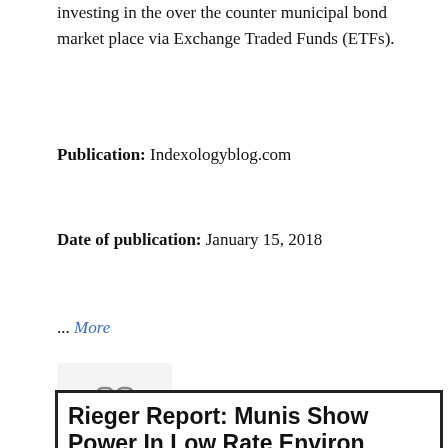investing in the over the counter municipal bond market place via Exchange Traded Funds (ETFs).
Publication: Indexologyblog.com
Date of publication: January 15, 2018
... More
[Figure (other): Chain link / hyperlink icon in a light gray rounded box]
[Figure (screenshot): Article preview box with bold headline 'Rieger Report: Munis Show Power In Low Rate Environ' dated Dec. 22, 2017 5:34 AM ET, sourced from S&P Dow Jones Indices]